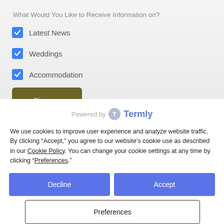What Would You Like to Receive Information on?
Latest News
Weddings
Accommodation
[Figure (screenshot): Sign up button, dark olive/gold color]
[Figure (logo): Powered by Termly logo]
We use cookies to improve user experience and analyze website traffic. By clicking “Accept,” you agree to our website’s cookie use as described in our Cookie Policy. You can change your cookie settings at any time by clicking “Preferences.”
[Figure (screenshot): Decline button (blue)]
[Figure (screenshot): Accept button (blue)]
[Figure (screenshot): Preferences button (outlined)]